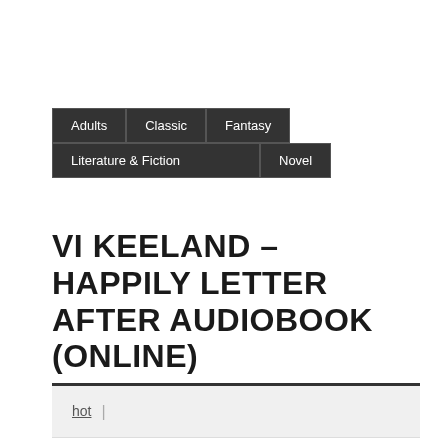Adults | Classic | Fantasy | Literature & Fiction | Novel
VI KEELAND – HAPPILY LETTER AFTER AUDIOBOOK (ONLINE)
hot